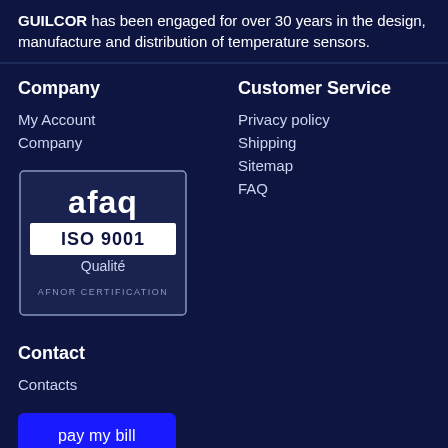GUILCOR has been engaged for over 30 years in the design, manufacture and distribution of temperature sensors.
Company
Customer Service
My Account
Company
Privacy policy
Shipping
Sitemap
FAQ
[Figure (logo): AFAQ ISO 9001 Qualité AFNOR CERTIFICATION badge]
Contact
Contacts
pay my bill